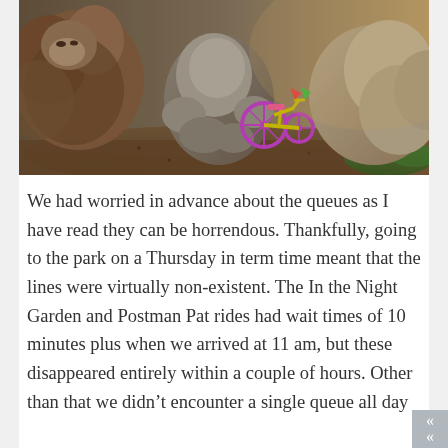[Figure (photo): Photo of large cartoon/sculptural animal characters sitting on ground with a small colorful tricycle (pink/yellow/purple) in the background, appearing to be at a theme park. Mulch ground cover and green grass visible.]
We had worried in advance about the queues as I have read they can be horrendous. Thankfully, going to the park on a Thursday in term time meant that the lines were virtually non-existent. The In the Night Garden and Postman Pat rides had wait times of 10 minutes plus when we arrived at 11 am, but these disappeared entirely within a couple of hours. Other than that we didn't encounter a single queue all day